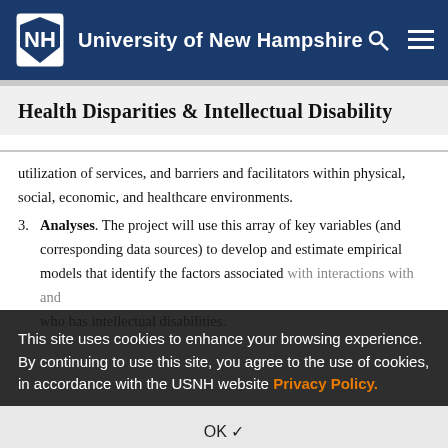University of New Hampshire
Health Disparities & Intellectual Disability
utilization of services, and barriers and facilitators within physical, social, economic, and healthcare environments.
3. Analyses. The project will use this array of key variables (and corresponding data sources) to develop and estimate empirical models that identify the factors associated with interactions with and who has intellectual disabilities.
4. Knowledge Translation. The project will disseminate the results of our analyses to public health practitioners, administrators, and researchers (i.e., the projects target audience) in a manner that facilitates their efforts to
This site uses cookies to enhance your browsing experience. By continuing to use this site, you agree to the use of cookies, in accordance with the USNH website Privacy Policy.
OK ✓